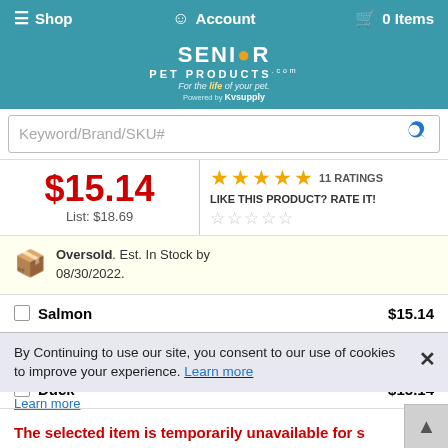≡ Shop  ♟ Account  🛒 0 Items
[Figure (logo): Senior Pet Products logo with tagline 'For the life of your pet.' and 'Powered by KVsupply']
Keyword/Brand/SKU#
$15.14  List: $18.69  ★★★★★ 11 RATINGS  LIKE THIS PRODUCT? RATE IT!
Oversold. Est. In Stock by 08/30/2022.
Salmon  $15.14
Peanut Butter  $15.14
Duck  $15.14
By Continuing to use our site, you consent to our use of cookies to improve your experience. Learn more
Learn more
The selected item is temporarily unavailable for s